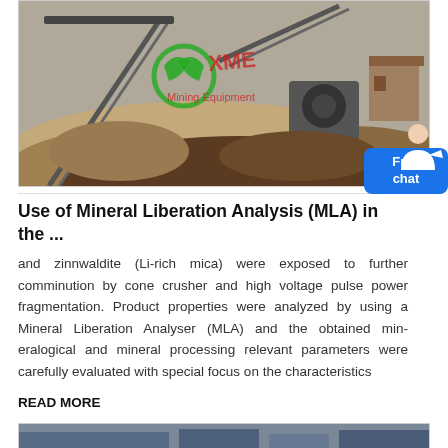[Figure (photo): Outdoor mining/crushing site with industrial conveyor belts, cone crusher machinery, and piles of excavated rock/sand material. Red watermark text 'XME Mining Equipment' visible with green recycling-style logo.]
Use of Mineral Liberation Analysis (MLA) in the ...
and zinnwaldite (Li-rich mica) were exposed to further comminution by cone crusher and high voltage pulse power fragmentation. Product properties were analyzed by using a Mineral Liberation Analyser (MLA) and the obtained mineralogical and mineral processing relevant parameters were carefully evaluated with special focus on the characteristics
READ MORE
[Figure (photo): Bottom portion of another article photo showing industrial mining equipment interior.]